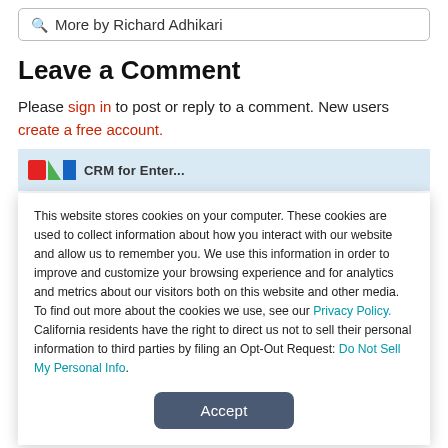More by Richard Adhikari
Leave a Comment
Please sign in to post or reply to a comment. New users create a free account.
[Figure (screenshot): Partial ad banner with colorful logo and partial text visible]
This website stores cookies on your computer. These cookies are used to collect information about how you interact with our website and allow us to remember you. We use this information in order to improve and customize your browsing experience and for analytics and metrics about our visitors both on this website and other media. To find out more about the cookies we use, see our Privacy Policy. California residents have the right to direct us not to sell their personal information to third parties by filing an Opt-Out Request: Do Not Sell My Personal Info.